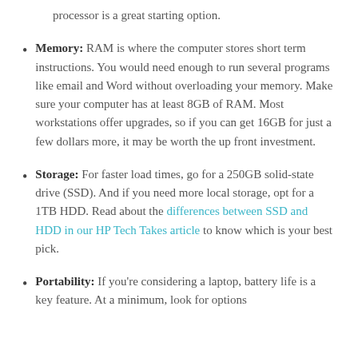processor is a great starting option.
Memory: RAM is where the computer stores short term instructions. You would need enough to run several programs like email and Word without overloading your memory. Make sure your computer has at least 8GB of RAM. Most workstations offer upgrades, so if you can get 16GB for just a few dollars more, it may be worth the up front investment.
Storage: For faster load times, go for a 250GB solid-state drive (SSD). And if you need more local storage, opt for a 1TB HDD. Read about the differences between SSD and HDD in our HP Tech Takes article to know which is your best pick.
Portability: If you're considering a laptop, battery life is a key feature. At a minimum, look for options